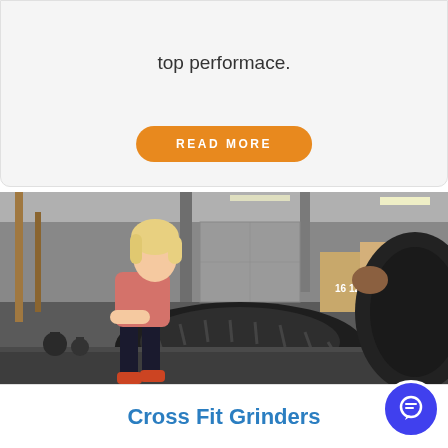top performace.
READ MORE
[Figure (photo): A fit blonde woman in athletic wear resting on a large tractor tire in a CrossFit gym setting. Kettlebells, wooden boxes, and gym equipment visible in background.]
Cross Fit Grinders